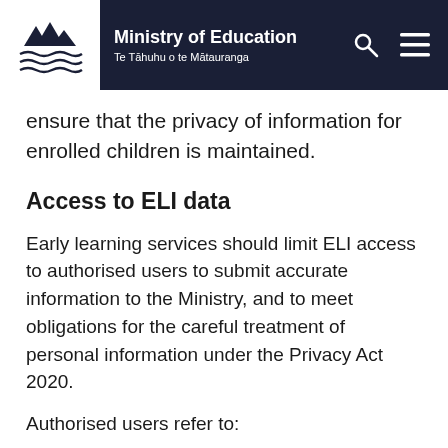Ministry of Education | Te Tāhuhu o te Mātauranga
ensure that the privacy of information for enrolled children is maintained.
Access to ELI data
Early learning services should limit ELI access to authorised users to submit accurate information to the Ministry, and to meet obligations for the careful treatment of personal information under the Privacy Act 2020.
Authorised users refer to:
The Service Provider Contact or delegated representative(s) for the purposes of ...